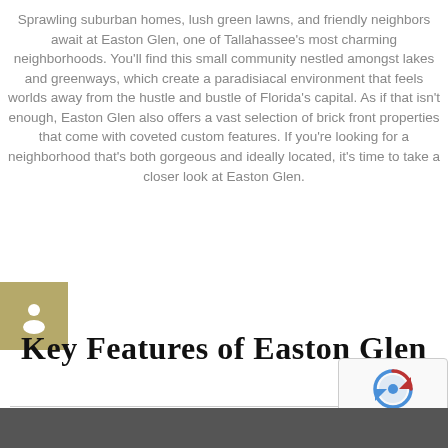Sprawling suburban homes, lush green lawns, and friendly neighbors await at Easton Glen, one of Tallahassee's most charming neighborhoods. You'll find this small community nestled amongst lakes and greenways, which create a paradisiacal environment that feels worlds away from the hustle and bustle of Florida's capital. As if that isn't enough, Easton Glen also offers a vast selection of brick front properties that come with coveted custom features. If you're looking for a neighborhood that's both gorgeous and ideally located, it's time to take a closer look at Easton Glen.
[Figure (illustration): Person/user icon in white on a tan/gold colored square background]
Key Features of Easton Glen
[Figure (illustration): reCAPTCHA badge with arrows icon and Privacy - Terms text]
[Figure (photo): Dark gray/charcoal band at the bottom of the page]